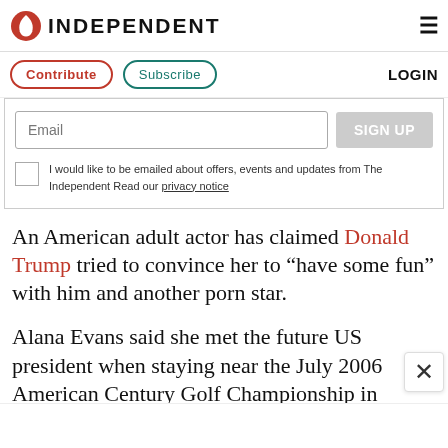INDEPENDENT
Contribute  Subscribe  LOGIN
Email  SIGN UP  I would like to be emailed about offers, events and updates from The Independent Read our privacy notice
An American adult actor has claimed Donald Trump tried to convince her to “have some fun” with him and another porn star.
Alana Evans said she met the future US president when staying near the July 2006 American Century Golf Championship in Nevada.